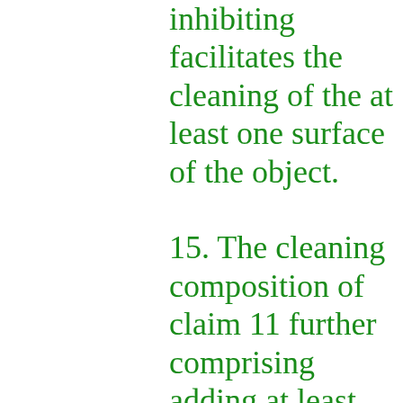inhibiting facilitates the cleaning of the at least one surface of the object.
15. The cleaning composition of claim 11 further comprising adding at least one